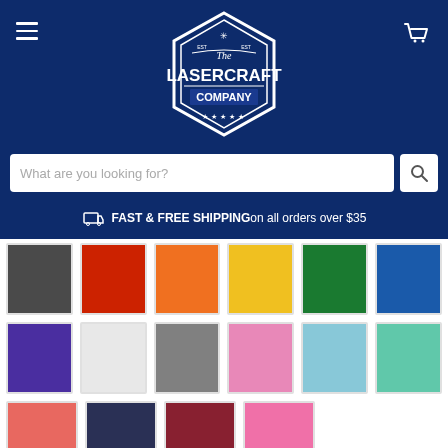[Figure (logo): The Lasercraft Company logo — white diamond/hexagon badge on dark navy blue background, with hamburger menu icon on left and cart icon on right]
What are you looking for?
FAST & FREE SHIPPING on all orders over $35
[Figure (other): Color swatch grid showing 16 color squares: charcoal/dark gray, red, orange, yellow, green, blue (row 1 partial); purple, light gray/white, gray, pink, light blue, mint/teal (row 2); coral/salmon, navy, dark red/burgundy, hot pink (row 3)]
Do you have custom text to add?
Chat with us
Yes
No